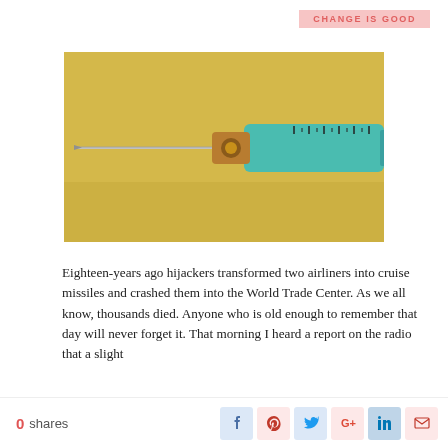CHANGE IS GOOD
[Figure (photo): A medical syringe with a needle against a yellow background. The syringe body is teal/green with measurement markings visible on the side.]
Eighteen-years ago hijackers transformed two airliners into cruise missiles and crashed them into the World Trade Center. As we all know, thousands died. Anyone who is old enough to remember that day will never forget it. That morning I heard a report on the radio that a slight
0 shares